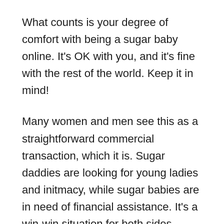What counts is your degree of comfort with being a sugar baby online. It's OK with you, and it's fine with the rest of the world. Keep it in mind!
Many women and men see this as a straightforward commercial transaction, which it is. Sugar daddies are looking for young ladies and initmacy, while sugar babies are in need of financial assistance. It's a win-win situation for both sides.
What is the role of a sugar baby?